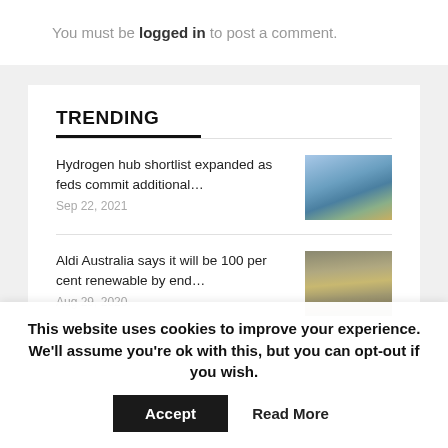You must be logged in to post a comment.
TRENDING
Hydrogen hub shortlist expanded as feds commit additional… Sep 22, 2021
Aldi Australia says it will be 100 per cent renewable by end… Aug 29, 2020
This website uses cookies to improve your experience. We'll assume you're ok with this, but you can opt-out if you wish.
Accept   Read More